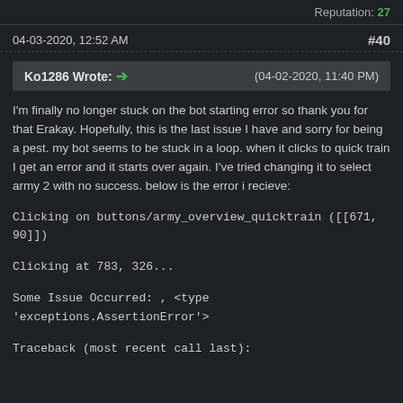Reputation: 27
04-03-2020, 12:52 AM  #40
Ko1286 Wrote: → (04-02-2020, 11:40 PM)
I'm finally no longer stuck on the bot starting error so thank you for that Erakay. Hopefully, this is the last issue I have and sorry for being a pest. my bot seems to be stuck in a loop. when it clicks to quick train I get an error and it starts over again. I've tried changing it to select army 2 with no success. below is the error i recieve:
Clicking on buttons/army_overview_quicktrain ([[671, 90]])
Clicking at 783, 326...
Some Issue Occurred: , <type 'exceptions.AssertionError'>
Traceback (most recent call last):